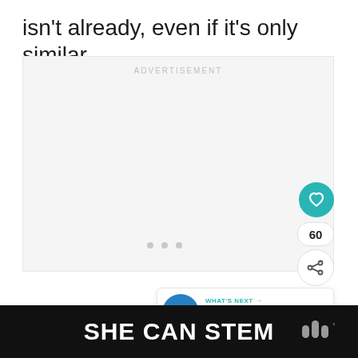isn't already, even if it's only similar.
[Figure (other): Advertisement placeholder box with 'ADVERTISEMENT' label, three dots in center, and social media buttons (heart/like with count 60, share) on the right side. A 'WHAT'S NEXT' card with Gizmodo logo and 'How To Find The Best...' text appears at bottom right.]
SHE CAN STEM